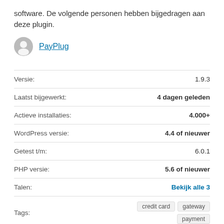software. De volgende personen hebben bijgedragen aan deze plugin.
PayPlug
| Label | Value |
| --- | --- |
| Versie: | 1.9.3 |
| Laatst bijgewerkt: | 4 dagen geleden |
| Actieve installaties: | 4.000+ |
| WordPress versie: | 4.4 of nieuwer |
| Getest t/m: | 6.0.1 |
| PHP versie: | 5.6 of nieuwer |
| Talen: | Bekijk alle 3 |
| Tags: | credit card  gateway  payment |